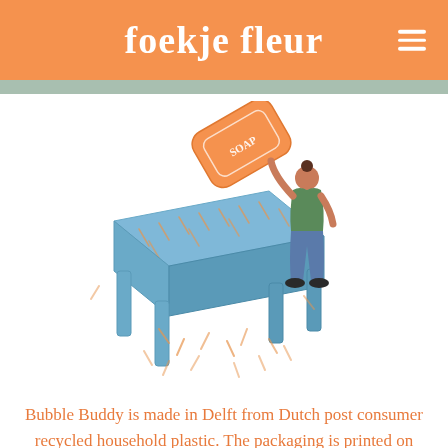foekje fleur
[Figure (illustration): Illustration of a person holding a large orange soap bar over a blue table/surface, with orange dash marks scattered around suggesting movement or foam.]
Bubble Buddy is made in Delft from Dutch post consumer recycled household plastic. The packaging is printed on eco-